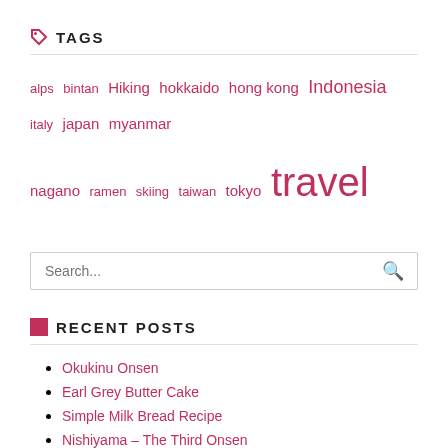TAGS
alps bintan Hiking hokkaido hong kong Indonesia italy japan myanmar nagano ramen skiing taiwan tokyo travel
[Figure (other): Search input box with placeholder 'Search...' and a red search icon on the right]
RECENT POSTS
Okukinu Onsen
Earl Grey Butter Cake
Simple Milk Bread Recipe
Nishiyama – The Third Onsen
Yumura – The Second Onsen